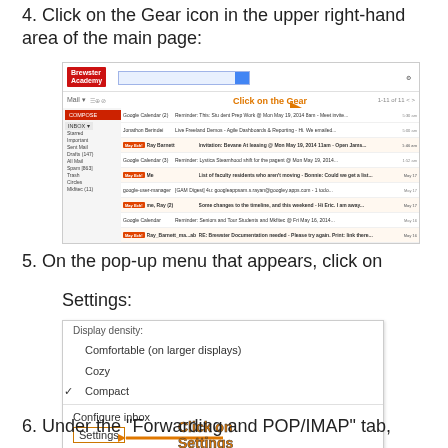4. Click on the Gear icon in the upper right-hand area of the main page:
[Figure (screenshot): Screenshot of Gmail interface with a Brewster Academy logo, showing inbox with emails. An orange arrow points to the gear icon in the upper right, labeled 'Click on the Gear' in orange bold text.]
5. On the pop-up menu that appears, click on Settings:
[Figure (screenshot): Screenshot of Gmail settings pop-up menu showing: Display density, Comfortable (on larger displays), Cozy, Compact (checked), Configure inbox, Settings (with orange box), Manage this domain, Themes, Send feedback, Help. An orange arrow points to Settings with label 'Click on Settings' in orange bold text.]
6. Under the “Forwarding and POP/IMAP” tab,